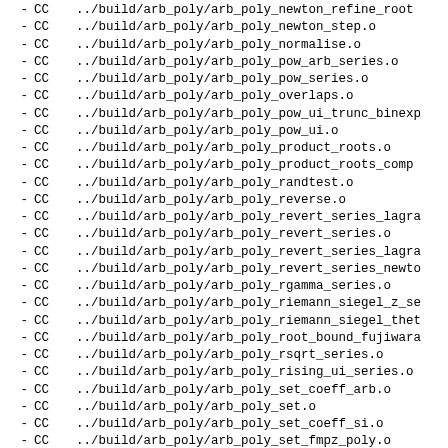- CC ../build/arb_poly/arb_poly_newton_refine_root
- CC ../build/arb_poly/arb_poly_newton_step.o
- CC ../build/arb_poly/arb_poly_normalise.o
- CC ../build/arb_poly/arb_poly_pow_arb_series.o
- CC ../build/arb_poly/arb_poly_pow_series.o
- CC ../build/arb_poly/arb_poly_overlaps.o
- CC ../build/arb_poly/arb_poly_pow_ui_trunc_binexp
- CC ../build/arb_poly/arb_poly_pow_ui.o
- CC ../build/arb_poly/arb_poly_product_roots.o
- CC ../build/arb_poly/arb_poly_product_roots_comp
- CC ../build/arb_poly/arb_poly_randtest.o
- CC ../build/arb_poly/arb_poly_reverse.o
- CC ../build/arb_poly/arb_poly_revert_series_lagra
- CC ../build/arb_poly/arb_poly_revert_series.o
- CC ../build/arb_poly/arb_poly_revert_series_lagra
- CC ../build/arb_poly/arb_poly_revert_series_newto
- CC ../build/arb_poly/arb_poly_rgamma_series.o
- CC ../build/arb_poly/arb_poly_riemann_siegel_z_se
- CC ../build/arb_poly/arb_poly_riemann_siegel_thet
- CC ../build/arb_poly/arb_poly_root_bound_fujiwara
- CC ../build/arb_poly/arb_poly_rsqrt_series.o
- CC ../build/arb_poly/arb_poly_rising_ui_series.o
- CC ../build/arb_poly/arb_poly_set_coeff_arb.o
- CC ../build/arb_poly/arb_poly_set.o
- CC ../build/arb_poly/arb_poly_set_coeff_si.o
- CC ../build/arb_poly/arb_poly_set_fmpz_poly.o
- CC ../build/arb_poly/arb_poly_set_fmpq_poly.o
- CC ../build/arb_poly/arb_poly_set_length.o
- CC ../build/arb_poly/arb_poly_set_round.o
- CC ../build/arb_poly/arb_poly_set_si.o